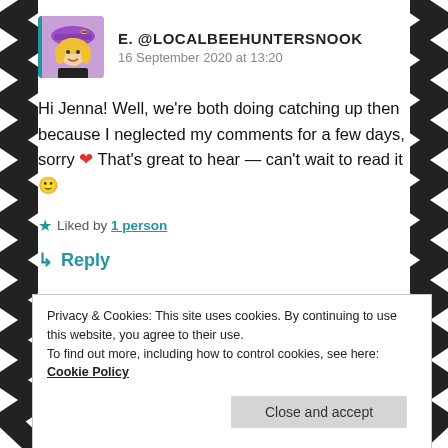[Figure (illustration): Left decorative zigzag border with black and white pattern]
[Figure (illustration): Right decorative zigzag border with black and white pattern]
[Figure (illustration): Avatar image of a cartoon woman with blonde hair and purple hat, with bee decorations]
E. @LOCALBEEHUNTERSNOOK
16 September 2020 at 13:20
Hi Jenna! Well, we're both doing catching up then because I neglected my comments for a few days, sorry ❤ That's great to hear — can't wait to read it 🙂
★ Liked by 1 person
↳ Reply
Privacy & Cookies: This site uses cookies. By continuing to use this website, you agree to their use.
To find out more, including how to control cookies, see here: Cookie Policy
Close and accept